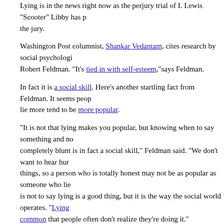Lying is in the news right now as the perjury trial of I. Lewis "Scooter" Libby has p... the jury.
Washington Post columnist, Shankar Vedantam, cites research by social psychologi... Robert Feldman. "It's tied in with self-esteem,"says Feldman.
In fact it is a social skill. Here's another startling fact from Feldman. It seems peop... lie more tend to be more popular.
"It is not that lying makes you popular, but knowing when to say something and no... completely blunt is in fact a social skill," Feldman said. "We don't want to hear hur... things, so a person who is totally honest may not be as popular as someone who lie... is not to say lying is a good thing, but it is the way the social world operates. "Lying... common that people often don't realize they're doing it."
Concludes Vedantam lying is, “so commonplace in everyday life that putting peopl... trial for lying is somewhat like putting them on trial for breathing.”
No surprise.
“Deception is rampant” Allison Kornet, noted in an earlier Psychology Today artic... explored lying by people in the public eye, including politicians like Newt Gingrich... young monk who falsely accused Cardinal Bernardin of molestation and “Joe Klein... Newsweek columnist who adamantly swore for months that he had nothing to do w... anonymously-published novel Primary Colors.”
One finding: “Both men and women lie in approximately a fifth of their social exch...